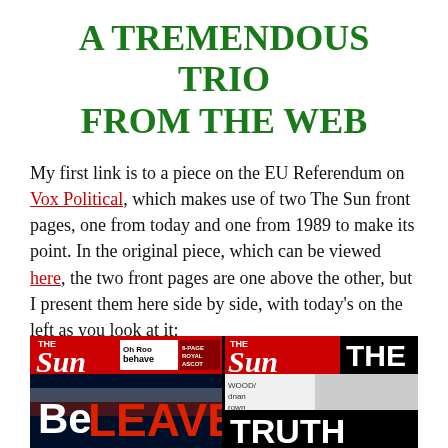A TREMENDOUS TRIO FROM THE WEB
My first link is to a piece on the EU Referendum on Vox Political, which makes use of two The Sun front pages, one from today and one from 1989 to make its point. In the original piece, which can be viewed here, the two front pages are one above the other, but I present them here side by side, with today's on the left as you look at it:
[Figure (photo): Two The Sun newspaper front pages side by side. Left: 'BeLEAVE' front page with Union Jack flag imagery. Right: older 'THE TRUTH' front page in black and white.]